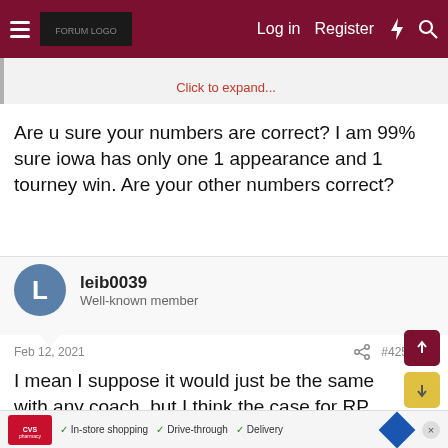Log in  Register
Click to expand...
Are u sure your numbers are correct? I am 99% sure iowa has only one 1 appearance and 1 tourney win. Are your other numbers correct?
leib0039
Well-known member
Feb 12, 2021  #425
I mean I suppose it would just be the same with any coach, but I think the case for RP getting the ax is this message board, every discussion turns into 3-4 people saying RP is doing great things and 10-15 saying how terrible he is